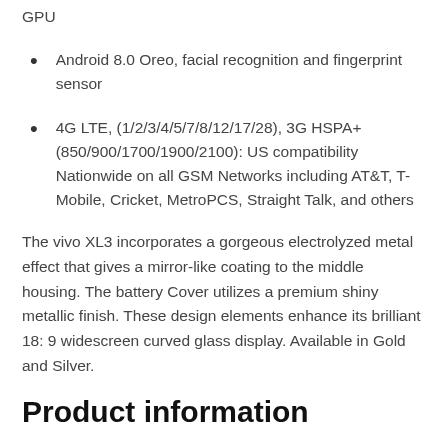GPU
Android 8.0 Oreo, facial recognition and fingerprint sensor
4G LTE, (1/2/3/4/5/7/8/12/17/28), 3G HSPA+ (850/900/1700/1900/2100): US compatibility Nationwide on all GSM Networks including AT&T, T-Mobile, Cricket, MetroPCS, Straight Talk, and others
The vivo XL3 incorporates a gorgeous electrolyzed metal effect that gives a mirror-like coating to the middle housing. The battery Cover utilizes a premium shiny metallic finish. These design elements enhance its brilliant 18: 9 widescreen curved glass display. Available in Gold and Silver.
Product information